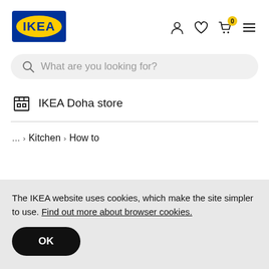[Figure (logo): IKEA logo - blue rectangle with yellow oval and IKEA text]
[Figure (infographic): Navigation icons: person, heart, basket with badge 0, hamburger menu]
What are you looking for?
IKEA Doha store
... > Kitchen > How to
The IKEA website uses cookies, which make the site simpler to use. Find out more about browser cookies.
OK